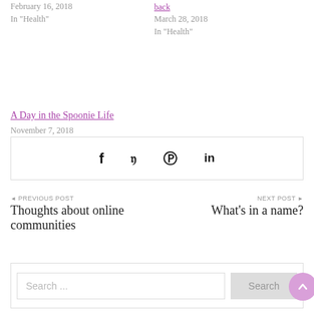February 16, 2018
In "Health"
back
March 28, 2018
In "Health"
A Day in the Spoonie Life
November 7, 2018
In "Health"
[Figure (other): Social share bar with Facebook, Twitter, Pinterest, and LinkedIn icons]
◄ PREVIOUS POST
Thoughts about online communities
NEXT POST ►
What's in a name?
Search ...